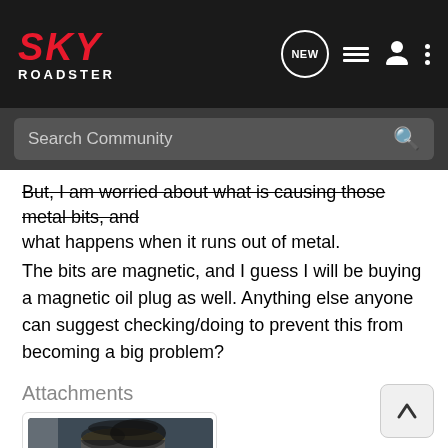SKY ROADSTER - navigation bar with search
But, I am worried about what is causing those metal bits, and what happens when it runs out of metal.
The bits are magnetic, and I guess I will be buying a magnetic oil plug as well. Anything else anyone can suggest checking/doing to prevent this from becoming a big problem?
Attachments
[Figure (photo): Photo of a cylindrical engine part covered in black metallic debris/shavings, placed on a white cloth. Filename: 20141218_171058.j...]
20141218_171058.j...
429.6 KB    Views: 9,349